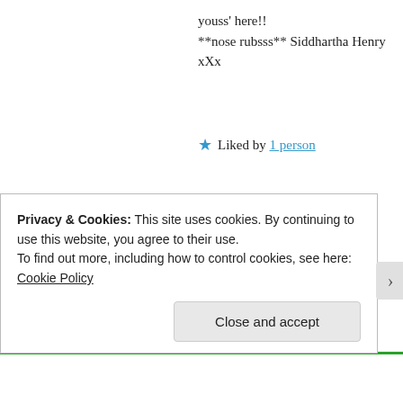youss' here!!
**nose rubsss** Siddhartha Henry xXx
★ Liked by 1 person
Yael Ben-Arl
JUNE 3, 2018 AT 10:35 AM
Thank you. We is very glad you could come over and visit with us as well.
Zoe and raja
Privacy & Cookies: This site uses cookies. By continuing to use this website, you agree to their use.
To find out more, including how to control cookies, see here: Cookie Policy
Close and accept